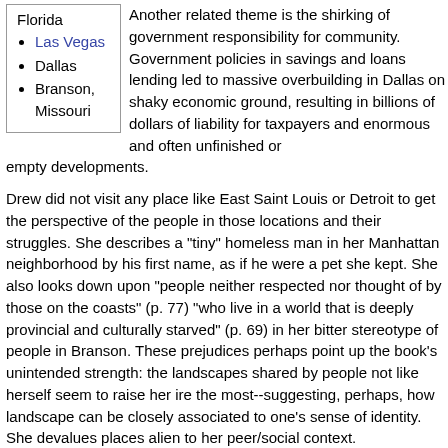Florida
Las Vegas
Dallas
Branson, Missouri
Another related theme is the shirking of government responsibility for community. Government policies in savings and loans lending led to massive overbuilding in Dallas on shaky economic ground, resulting in billions of dollars of liability for taxpayers and enormous and often unfinished or empty developments.
Drew did not visit any place like East Saint Louis or Detroit to get the perspective of the people in those locations and their struggles. She describes a "tiny" homeless man in her Manhattan neighborhood by his first name, as if he were a pet she kept. She also looks down upon "people neither respected nor thought of by those on the coasts" (p. 77) "who live in a world that is deeply provincial and culturally starved" (p. 69) in her bitter stereotype of people in Branson. These prejudices perhaps point up the book's unintended strength: the landscapes shared by people not like herself seem to raise her ire the most--suggesting, perhaps, how landscape can be closely associated to one's sense of identity. She devalues places alien to her peer/social context.
Related Links